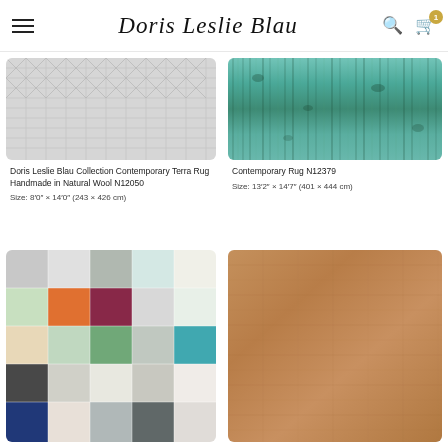Doris Leslie Blau — Navigation header with logo, search, and cart
[Figure (photo): Gray geometric woven contemporary rug with crosshatch pattern]
Doris Leslie Blau Collection Contemporary Terra Rug Handmade in Natural Wool N12050
Size: 8′0″ × 14′0″ (243 × 426 cm)
[Figure (photo): Teal and green contemporary rug with vertical stripe texture]
Contemporary Rug N12379
Size: 13′2″ × 14′7″ (401 × 444 cm)
[Figure (photo): Colorful patchwork rug with multicolor squares in orange, blue, green, gray tones]
[Figure (photo): Warm brown plain contemporary rug with subtle texture]